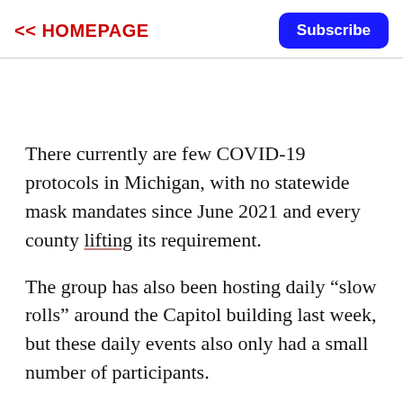<< HOMEPAGE   Subscribe
There currently are few COVID-19 protocols in Michigan, with no statewide mask mandates since June 2021 and every county lifting its requirement.
The group has also been hosting daily “slow rolls” around the Capitol building last week, but these daily events also only had a small number of participants.